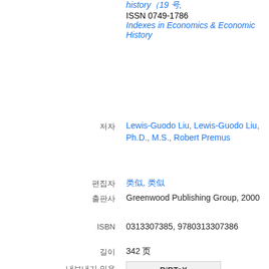history（19 号, ISSN 0749-1786
Indexes in Economics & Economic History
저자  Lewis-Guodo Liu, Lewis-Guodo Liu, Ph.D., M.S., Robert Premus
편집자  类似, 类似
출판사  Greenwood Publishing Group, 2000
ISBN  0313307385, 9780313307386
길이  342 页
내보내기 인용
BiBTeX
EndNote